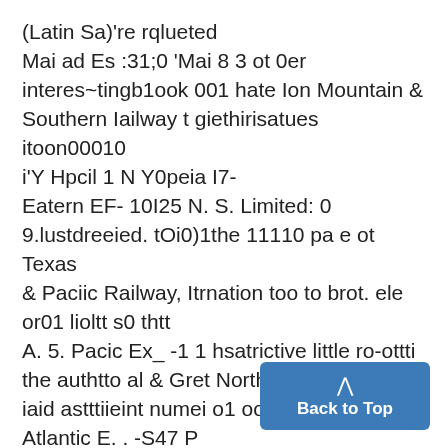(Latin Sa)'re rqlueted Mai ad Es :31;0 'Mai 8 3 ot 0er interes~tingb1ook 001 hate Ion Mountain & Southern Iailway t giethirisatues itoon00010 i'Y Hpcil 1 N Y0peia I7- Eatern EF- 10I25 N. S. Limited: 0 9.lustdreeied. tOi0)1the 11110 pa e ot Texas & Paciic Railway, Itrnation too to brot. ele or01 lioltt s0 thtt A. 5. Pacic Ex_ -1 1 hsatrictive little ro-ottti the authtto al & Gret Northern Railroadt, iaid astttiieint numei o1 ooks may e Atlantic E. . -S47 P 9).NE. pec. .5+0 Wetre E_ I i12te